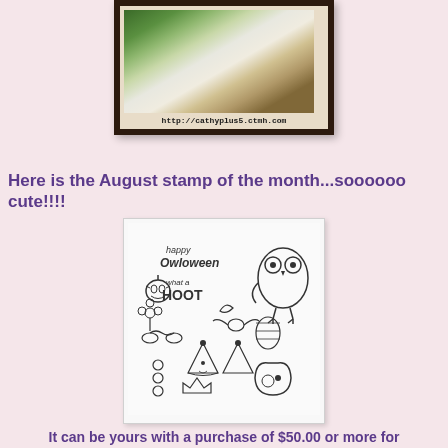[Figure (photo): Photo of a child with a basket on head, with colorful bunting flags, shown inside a dark brown frame with URL caption http://cathyplus5.ctmh.com]
Here is the August stamp of the month...soooooo cute!!!!
[Figure (illustration): August stamp of the month illustration showing Halloween owl-themed stamps including text 'happy Owloween', 'what a HOOT', owl character, pumpkin, bat, flowers, party hats, and other Halloween elements]
It can be yours with a purchase of $50.00 or more for